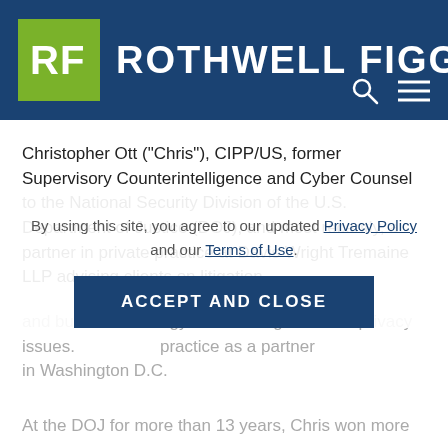[Figure (logo): Rothwell Figg law firm logo: green square with white RF letters, followed by 'ROTHWELL FIGG' text in white on dark blue header bar with search and menu icons]
Christopher Ott ("Chris"), CIPP/US, former Supervisory Counterintelligence and Cyber Counsel to the National Security Division of the U.S. Department of Justice (DOJ), and most recently, a partner in private practice at Davis Wright Tremaine LLP advising clients on litigation and business strategy when facing data and privacy issues. [Chris practices as a partner in Washington D.C.]
By using this site, you agree to our updated Privacy Policy and our Terms of Use.
ACCEPT AND CLOSE
At the DOJ for more than 13 years, Chris won more